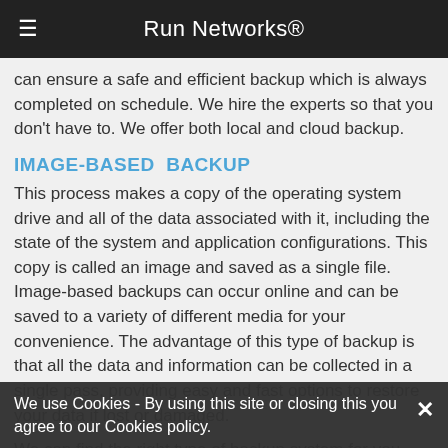Run Networks®
can ensure a safe and efficient backup which is always completed on schedule. We hire the experts so that you don't have to. We offer both local and cloud backup.
IMAGE-BASED BACKUP
This process makes a copy of the operating system drive and all of the data associated with it, including the state of the system and application configurations. This copy is called an image and saved as a single file. Image-based backups can occur online and can be saved to a variety of different media for your convenience. The advantage of this type of backup is that all the data and information can be collected in a single pass, providing easy and fast options to restore your data if lost or damaged.
We can find the right type of backup system for you needs and completely protect your network, including an off-site solution in case your network goes down or data is lost.
We use Cookies - By using this site or closing this you agree to our Cookies policy.